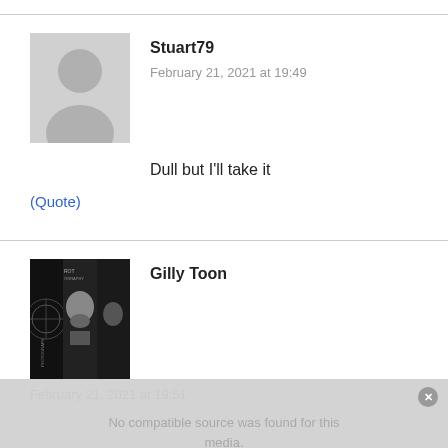Stuart79
February 21, 2021 at 19:49
Dull but I'll take it
(Quote)
Gilly Toon
February 21, 2021 at 19:51
No compatible source was found for this media.